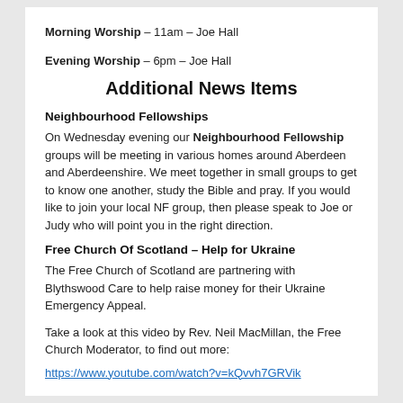Morning Worship – 11am – Joe Hall
Evening Worship – 6pm – Joe Hall
Additional News Items
Neighbourhood Fellowships
On Wednesday evening our Neighbourhood Fellowship groups will be meeting in various homes around Aberdeen and Aberdeenshire. We meet together in small groups to get to know one another, study the Bible and pray. If you would like to join your local NF group, then please speak to Joe or Judy who will point you in the right direction.
Free Church Of Scotland – Help for Ukraine
The Free Church of Scotland are partnering with Blythswood Care to help raise money for their Ukraine Emergency Appeal.
Take a look at this video by Rev. Neil MacMillan, the Free Church Moderator, to find out more:
https://www.youtube.com/watch?v=kQvvh7GRVik